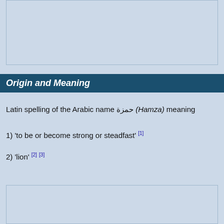[Figure (other): Empty light blue bordered box at top of page]
Origin and Meaning
Latin spelling of the Arabic name حمزة (Hamza) meaning
1) 'to be or become strong or steadfast' [1]
2) 'lion' [2] [3]
[Figure (photo): Photo of a lion in dry savanna grass, partially visible at bottom of page]